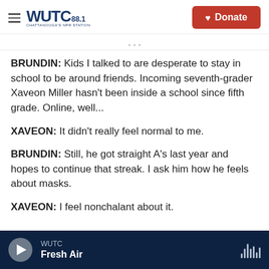WUTC 88.1 Chattanooga's NPR Station | Donate
BRUNDIN: Kids I talked to are desperate to stay in school to be around friends. Incoming seventh-grader Xaveon Miller hasn't been inside a school since fifth grade. Online, well...
XAVEON: It didn't really feel normal to me.
BRUNDIN: Still, he got straight A's last year and hopes to continue that streak. I ask him how he feels about masks.
XAVEON: I feel nonchalant about it.
WUTC | Fresh Air